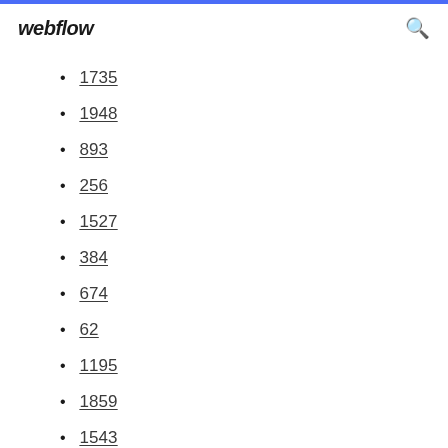webflow
1735
1948
893
256
1527
384
674
62
1195
1859
1543
775